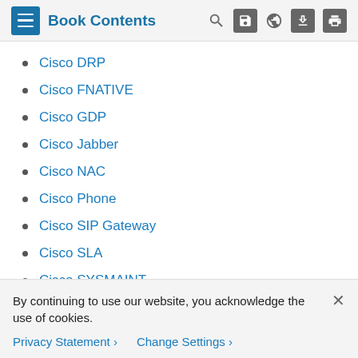Book Contents
Cisco DRP
Cisco FNATIVE
Cisco GDP
Cisco Jabber
Cisco NAC
Cisco Phone
Cisco SIP Gateway
Cisco SLA
Cisco SYSMAINT
Cisco TNATIVE
CiteULike
By continuing to use our website, you acknowledge the use of cookies.
Privacy Statement > Change Settings >